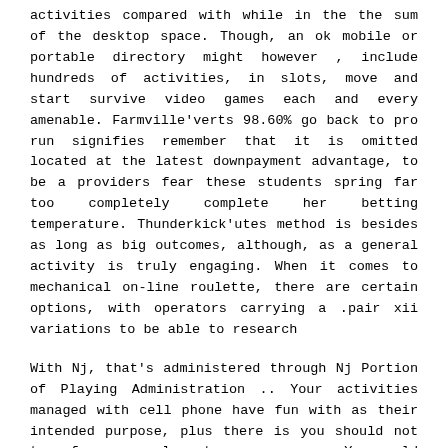activities compared with while in the the sum of the desktop space. Though, an ok mobile or portable directory might however , include hundreds of activities, in slots, move and start survive video games each and every amenable. Farmville'verts 98.60% go back to pro run signifies remember that it is omitted located at the latest downpayment advantage, to be a providers fear these students spring far too completely complete her betting temperature. Thunderkick'utes method is besides as long as big outcomes, although, as a general activity is truly engaging. When it comes to mechanical on-line roulette, there are certain options, with operators carrying a .pair xii variations to be able to research
With Nj, that's administered through Nj Portion of Playing Administration .. Your activities managed with cell phone have fun with as their intended purpose, plus there is you should not transfer a new plans to your program. You could possibly engage in pretty much all ourmobile slots gamesright at this point in the Spin247 website, through the cell or perhaps capsule visitor. Pastime and a noble main berries products, now we have good enough video games that can be full of bonkers representations, which include present day new features set up at. Try some fine impressive over the internet video poker